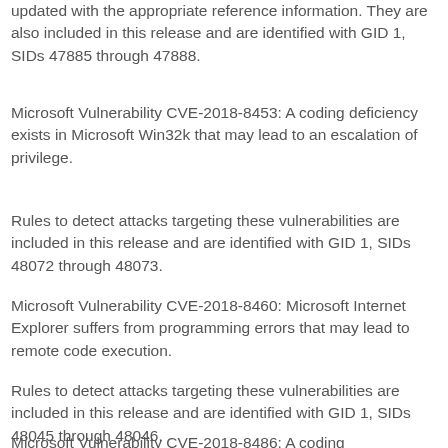updated with the appropriate reference information. They are also included in this release and are identified with GID 1, SIDs 47885 through 47888.
Microsoft Vulnerability CVE-2018-8453: A coding deficiency exists in Microsoft Win32k that may lead to an escalation of privilege.
Rules to detect attacks targeting these vulnerabilities are included in this release and are identified with GID 1, SIDs 48072 through 48073.
Microsoft Vulnerability CVE-2018-8460: Microsoft Internet Explorer suffers from programming errors that may lead to remote code execution.
Rules to detect attacks targeting these vulnerabilities are included in this release and are identified with GID 1, SIDs 48045 through 48046.
Microsoft Vulnerability CVE-2018-8486: A coding